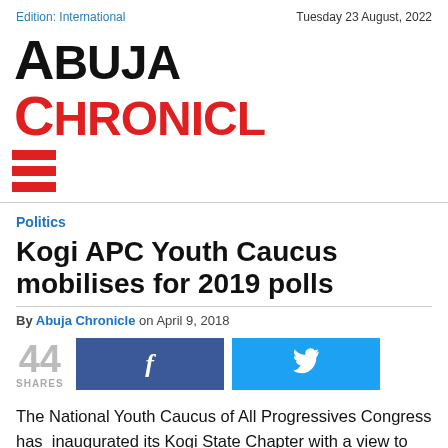Edition: International | Tuesday 23 August, 2022
Abuja Chronicle
Politics
Kogi APC Youth Caucus mobilises for 2019 polls
By Abuja Chronicle on April 9, 2018
44 SHARES
The National Youth Caucus of All Progressives Congress has  inaugurated its Kogi State Chapter with a view to achieving victory for the party in the 2019 elections.